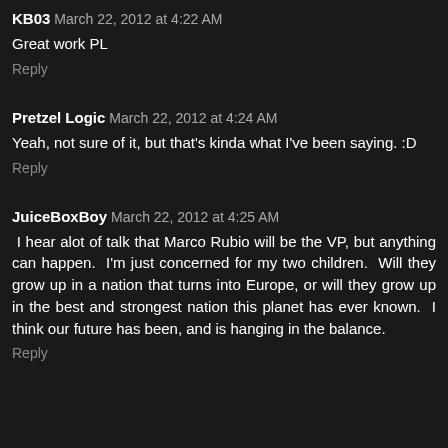KB03 March 22, 2012 at 4:22 AM
Great work PL
Reply
Pretzel Logic March 22, 2012 at 4:24 AM
Yeah, not sure of it, but that's kinda what I've been saying. :D
Reply
JuiceBoxBoy March 22, 2012 at 4:25 AM
I hear alot of talk that Marco Rubio will be the VP, but anything can happen. I'm just concerned for my two children. Will they grow up in a nation that turns into Europe, or will they grow up in the best and strongest nation this planet has ever known. I think our future has been, and is hanging in the balance.
Reply